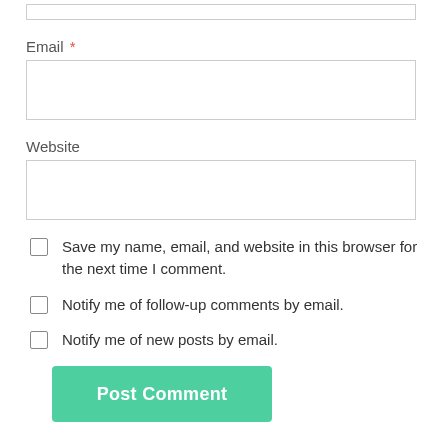[Figure (screenshot): Top partial input field box (cropped from previous section)]
Email *
[Figure (screenshot): Email input text field (empty)]
Website
[Figure (screenshot): Website input text field (empty)]
Save my name, email, and website in this browser for the next time I comment.
Notify me of follow-up comments by email.
Notify me of new posts by email.
Post Comment